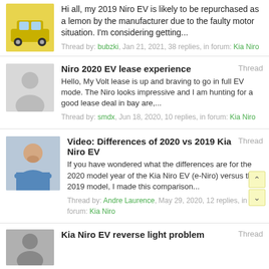Hi all, my 2019 Niro EV is likely to be repurchased as a lemon by the manufacturer due to the faulty motor situation. I'm considering getting... Thread by: bubzki, Jan 21, 2021, 38 replies, in forum: Kia Niro
Niro 2020 EV lease experience Thread
Hello, My Volt lease is up and braving to go in full EV mode. The Niro looks impressive and I am hunting for a good lease deal in bay are,... Thread by: smdx, Jun 18, 2020, 10 replies, in forum: Kia Niro
Video: Differences of 2020 vs 2019 Kia Niro EV Thread
If you have wondered what the differences are for the 2020 model year of the Kia Niro EV (e-Niro) versus the 2019 model, I made this comparison... Thread by: Andre Laurence, May 29, 2020, 12 replies, in forum: Kia Niro
Kia Niro EV reverse light problem Thread